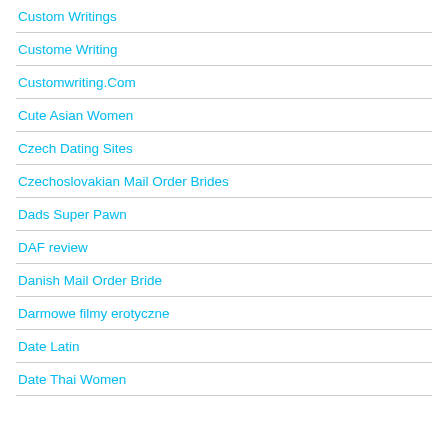Custom Writings
Custome Writing
Customwriting.Com
Cute Asian Women
Czech Dating Sites
Czechoslovakian Mail Order Brides
Dads Super Pawn
DAF review
Danish Mail Order Bride
Darmowe filmy erotyczne
Date Latin
Date Thai Women